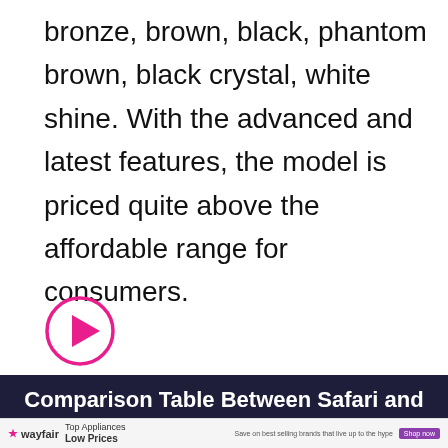bronze, brown, black, phantom brown, black crystal, white shine. With the advanced and latest features, the model is priced quite above the affordable range for consumers.
[Figure (other): A circular play button with a pink/magenta border and a filled pink/magenta right-pointing triangle in the center, indicating a video player control.]
Comparison Table Between Safari and
[Figure (other): Wayfair advertisement banner showing logo, 'Top Appliances Low Prices' text, image of a stove/range, and 'Save on best selling brands that live up to the hype' with a purple 'Shop now' button.]